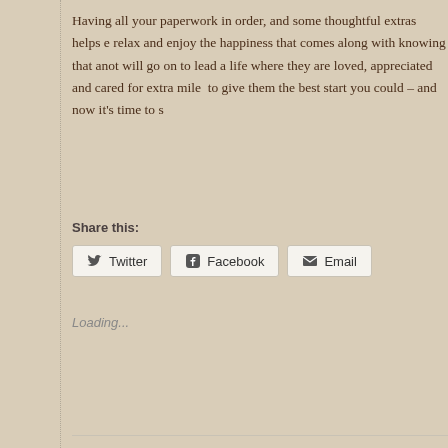Having all your paperwork in order, and some thoughtful extras helps e relax and enjoy the happiness that comes along with knowing that anot will go on to lead a life where they are loved, appreciated and cared for extra mile  to give them the best start you could – and now it's time to s
Share this:
[Figure (other): Social share buttons: Twitter, Facebook, Email]
Loading...